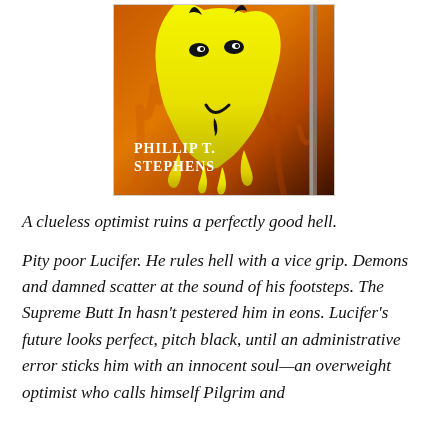[Figure (illustration): Book cover illustration showing a yellow flame or skull-like shape on an orange/amber background with fire textures. Author name 'PHILLIP T. STEPHENS' appears in white text at the bottom left of the cover image.]
A clueless optimist ruins a perfectly good hell.
Pity poor Lucifer. He rules hell with a vice grip. Demons and damned scatter at the sound of his footsteps. The Supreme Butt In hasn't pestered him in eons. Lucifer's future looks perfect, pitch black, until an administrative error sticks him with an innocent soul—an overweight optimist who calls himself Pilgrim and